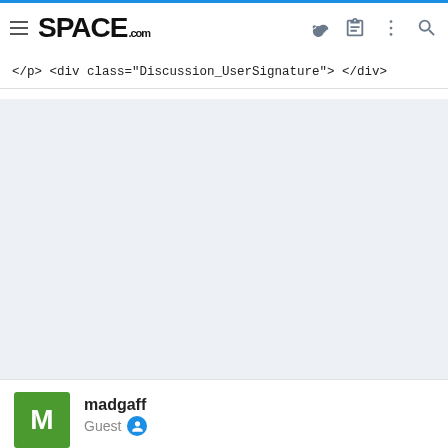SPACE.com navigation header
</p> <div class="Discussion_UserSignature"> </div>
[Figure (other): Gray advertisement or content placeholder area]
madgaff
Guest